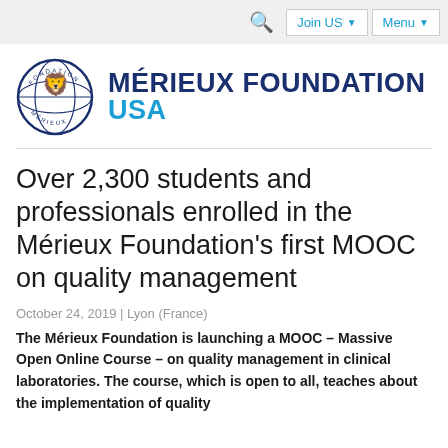Search | Join US | Menu
[Figure (logo): Fondation Mérieux circular logo with lion and globe motif]
MÉRIEUX FOUNDATION USA
Over 2,300 students and professionals enrolled in the Mérieux Foundation's first MOOC on quality management
October 24, 2019 | Lyon (France)
The Mérieux Foundation is launching a MOOC – Massive Open Online Course – on quality management in clinical laboratories. The course, which is open to all, teaches about the implementation of quality